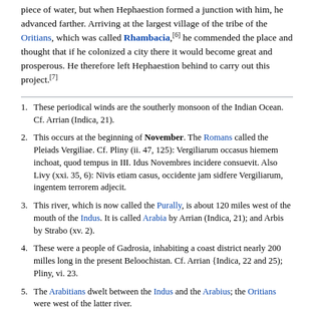piece of water, but when Hephaestion formed a junction with him, he advanced farther. Arriving at the largest village of the tribe of the Oritians, which was called Rhambacia,[6] he commended the place and thought that if he colonized a city there it would become great and prosperous. He therefore left Hephaestion behind to carry out this project.[7]
1. These periodical winds are the southerly monsoon of the Indian Ocean. Cf. Arrian (Indica, 21).
2. This occurs at the beginning of November. The Romans called the Pleiads Vergiliae. Cf. Pliny (ii. 47, 125): Vergiliarum occasus hiemem inchoat, quod tempus in III. Idus Novembres incidere consuevit. Also Livy (xxi. 35, 6): Nivis etiam casus, occidente jam sidfere Vergiliarum, ingentem terrorem adjecit.
3. This river, which is now called the Purally, is about 120 miles west of the mouth of the Indus. It is called Arabia by Arrian (Indica, 21); and Arbis by Strabo (xv. 2).
4. These were a people of Gadrosia, inhabiting a coast district nearly 200 milles long in the present Beloochistan. Cf. Arrian {Indica, 22 and 25); Pliny, vi. 23.
5. The Arabitians dwelt between the Indus and the Arabius; the Oritians were west of the latter river.